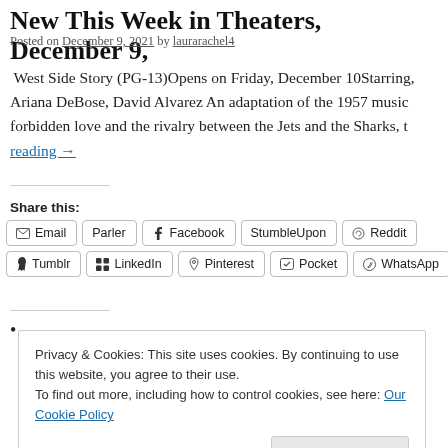New This Week in Theaters, December 9,
Posted on December 9, 2021 by laurarachel4
West Side Story (PG-13)Opens on Friday, December 10Starring, Ariana DeBose, David Alvarez An adaptation of the 1957 music forbidden love and the rivalry between the Jets and the Sharks, t reading →
Share this:
Email | Parler | Facebook | StumbleUpon | Reddit | Tumblr | LinkedIn | Pinterest | Pocket | WhatsApp
Privacy & Cookies: This site uses cookies. By continuing to use this website, you agree to their use.
To find out more, including how to control cookies, see here: Our Cookie Policy
Close and accept